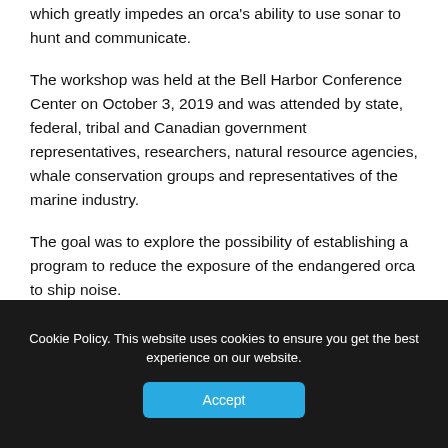which greatly impedes an orca's ability to use sonar to hunt and communicate.
The workshop was held at the Bell Harbor Conference Center on October 3, 2019 and was attended by state, federal, tribal and Canadian government representatives, researchers, natural resource agencies, whale conservation groups and representatives of the marine industry.
The goal was to explore the possibility of establishing a program to reduce the exposure of the endangered orca to ship noise.
The workshop resulted in 22 recommendations, the
Cookie Policy. This website uses cookies to ensure you get the best experience on our website.